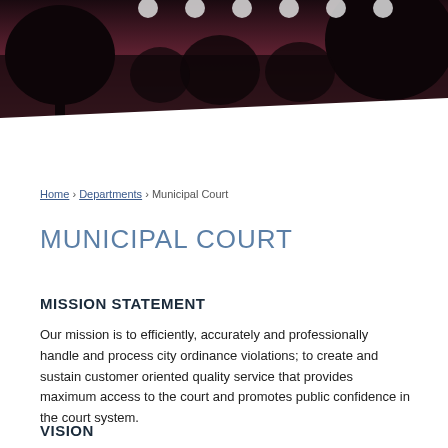[Figure (photo): Dark header image showing silhouettes of trees against a reddish-purple sky, with small circular icon buttons along the top]
Home › Departments › Municipal Court
MUNICIPAL COURT
MISSION STATEMENT
Our mission is to efficiently, accurately and professionally handle and process city ordinance violations; to create and sustain customer oriented quality service that provides maximum access to the court and promotes public confidence in the court system.
VISION